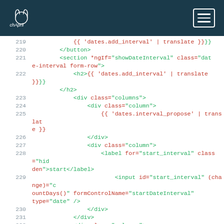chApril navigation header
[Figure (screenshot): Code editor showing HTML template lines 219-233 with syntax highlighting. Green for HTML tags and attributes, red for Angular binding expressions and attribute values. Lines include dates.add_interval template tags, section with ngIf, h2, div columns, div column, label, input elements.]